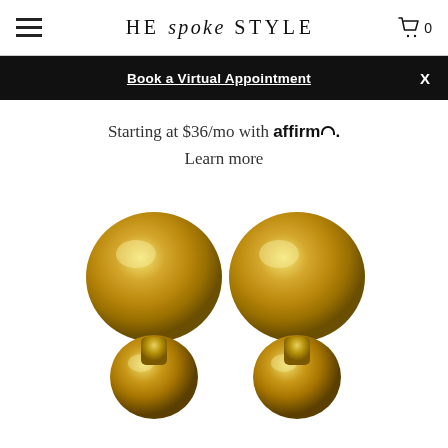HE spoke STYLE
Book a Virtual Appointment  X
Starting at $36/mo with affirm. Learn more
[Figure (photo): Two gold spherical cufflinks photographed from above on a white background, showing polished gold ball-and-barrel design]